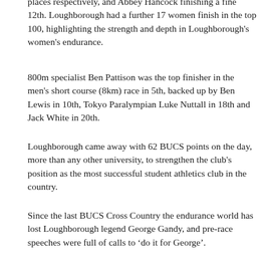places respectively, and Abbey Hancock finishing a fine 12th. Loughborough had a further 17 women finish in the top 100, highlighting the strength and depth in Loughborough's women's endurance.
800m specialist Ben Pattison was the top finisher in the men's short course (8km) race in 5th, backed up by Ben Lewis in 10th, Tokyo Paralympian Luke Nuttall in 18th and Jack White in 20th.
Loughborough came away with 62 BUCS points on the day, more than any other university, to strengthen the club's position as the most successful student athletics club in the country.
Since the last BUCS Cross Country the endurance world has lost Loughborough legend George Gandy, and pre-race speeches were full of calls to 'do it for George'.
The teams certainly would have made George proud, and Kyle Bennett, George's successor as Head of Endurance at Loughborough was delighted with the performances in Middlesex. He said: "What a day! I am so proud of everyone that raced and supported the team at BUCS Cross Country. The atmosphere was amazing from start to finish and the level of support Loughborough students provided to each other as teammates was fantastic to witness and what BUCS cross is all about. I